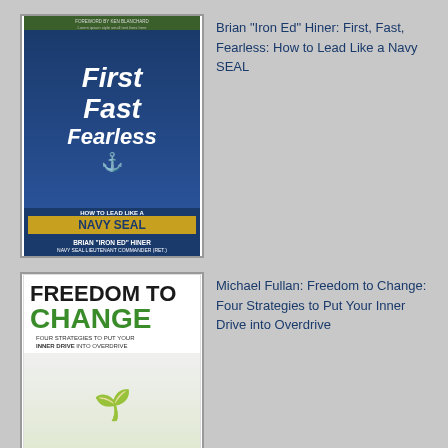[Figure (illustration): Book cover: First Fast Fearless: How to Lead Like a Navy SEAL by Brian Iron Ed Hiner, with foreword by Ken Blanchard]
Brian "Iron Ed" Hiner: First, Fast, Fearless: How to Lead Like a Navy SEAL
[Figure (illustration): Book cover: Freedom to Change: Four Strategies to Put Your Inner Drive into Overdrive by Michael Fullan, published by Wiley]
Michael Fullan: Freedom to Change: Four Strategies to Put Your Inner Drive into Overdrive
[Figure (illustration): Book cover: Don't Wear Flip-Flops to Your Interview by Dr. Paul Powers, showing legs in business pants with flip-flops]
Dr. Paul Powers: Don't Wear Flip-Flops to Your Interview: